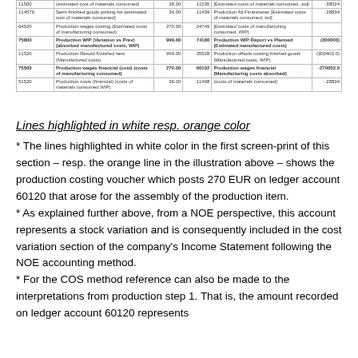[Figure (screenshot): Screenshot of a production costing ledger table showing various production costing lines with account numbers, descriptions, and amounts. Some rows highlighted in white and orange.]
Lines highlighted in white resp. orange color
* The lines highlighted in white color in the first screen-print of this section – resp. the orange line in the illustration above – shows the production costing voucher which posts 270 EUR on ledger account 60120 that arose for the assembly of the production item.
* As explained further above, from a NOE perspective, this account represents a stock variation and is consequently included in the cost variation section of the company's Income Statement following the NOE accounting method.
* For the COS method reference can also be made to the interpretations from production step 1. That is, the amount recorded on ledger account 60120 represents